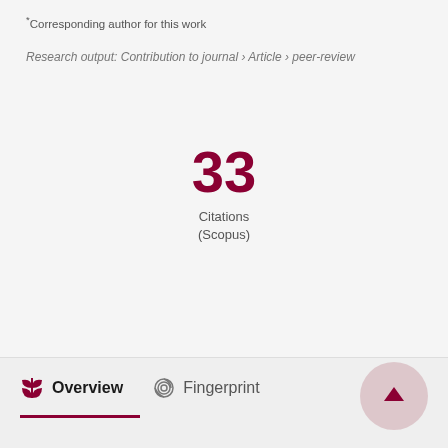*Corresponding author for this work
Research output: Contribution to journal › Article › peer-review
33
Citations
(Scopus)
Overview   Fingerprint